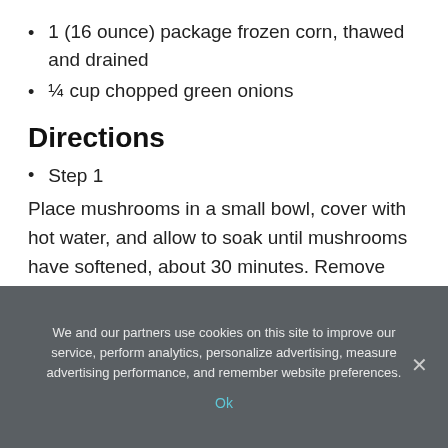1 (16 ounce) package frozen corn, thawed and drained
¼ cup chopped green onions
Directions
Step 1
Place mushrooms in a small bowl, cover with hot water, and allow to soak until mushrooms have softened, about 30 minutes. Remove mushrooms from the bowl, squeeze to drain, and chop finely.
We and our partners use cookies on this site to improve our service, perform analytics, personalize advertising, measure advertising performance, and remember website preferences.